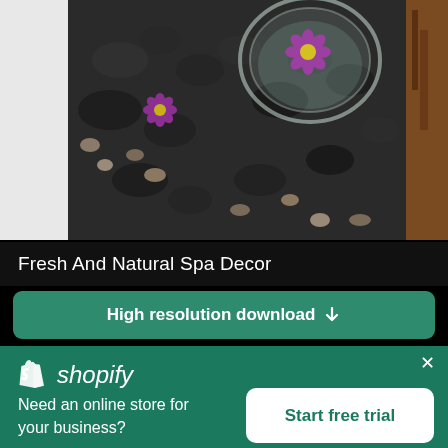[Figure (photo): Overhead view of a spa scene with black river stones, small purple daisy flowers, a glass bowl with a floating flower, and pebbles on a dark background]
Fresh And Natural Spa Decor
High resolution download ↓
[Figure (screenshot): Shopify promotional banner with logo, text 'Need an online store for your business?' and a 'Start free trial' button on a teal/green background with a close (×) button]
shopify
Need an online store for your business?
Start free trial